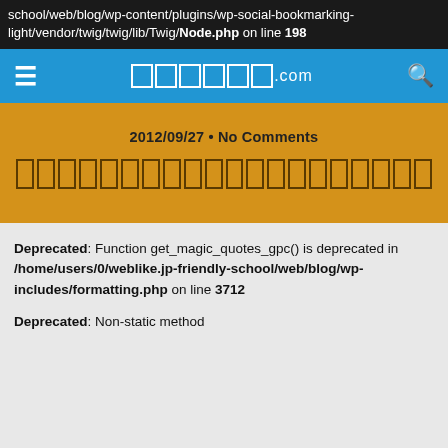school/web/blog/wp-content/plugins/wp-social-bookmarking-light/vendor/twig/twig/lib/Twig/Node.php on line 198
□□□□□□.com
□□□□□□□□□□□□□□□□□□□□□□□□□□□□□
2012/09/27 • No Comments
Deprecated: Function get_magic_quotes_gpc() is deprecated in /home/users/0/weblike.jp-friendly-school/web/blog/wp-includes/formatting.php on line 3712
Deprecated: Non-static method